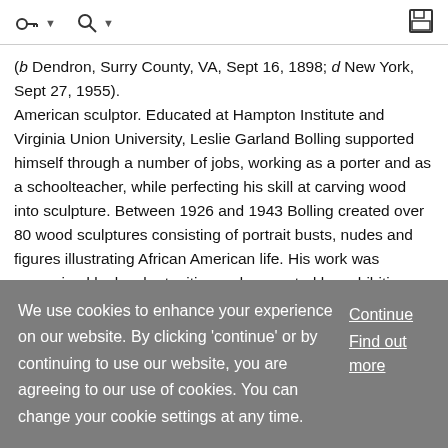navigation icons and save icon
(b Dendron, Surry County, VA, Sept 16, 1898; d New York, Sept 27, 1955). American sculptor. Educated at Hampton Institute and Virginia Union University, Leslie Garland Bolling supported himself through a number of jobs, working as a porter and as a schoolteacher, while perfecting his skill at carving wood into sculpture. Between 1926 and 1943 Bolling created over 80 wood sculptures consisting of portrait busts, nudes and figures illustrating African American life. His work was recognized by local art critics and supported by exhibition through the Richmond Acade
We use cookies to enhance your experience on our website. By clicking 'continue' or by continuing to use our website, you are agreeing to our use of cookies. You can change your cookie settings at any time.